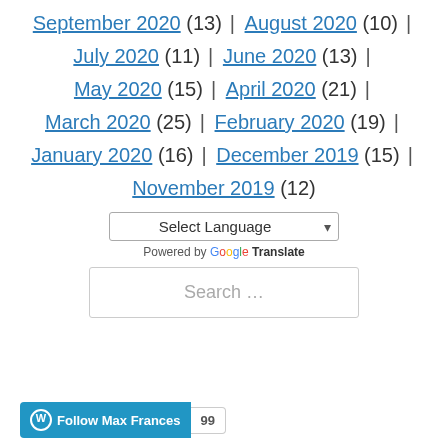September 2020 (13) | August 2020 (10) |
July 2020 (11) | June 2020 (13) |
May 2020 (15) | April 2020 (21) |
March 2020 (25) | February 2020 (19) |
January 2020 (16) | December 2019 (15) |
November 2019 (12)
Select Language — Powered by Google Translate
Search …
Follow Max Frances 99